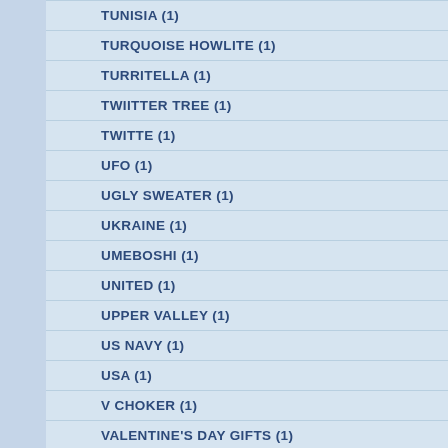TUNISIA (1)
TURQUOISE HOWLITE (1)
TURRITELLA (1)
TWIITTER TREE (1)
TWITTE (1)
UFO (1)
UGLY SWEATER (1)
UKRAINE (1)
UMEBOSHI (1)
UNITED (1)
UPPER VALLEY (1)
US NAVY (1)
USA (1)
V CHOKER (1)
VALENTINE'S DAY GIFTS (1)
VALENTINE'S DAY VALENTINE'S DAY GIFTS (1)
VALENTINE'S GIFTS (1)
VALENTINESAY (1)